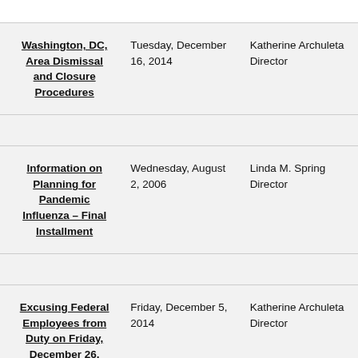| Title | Date | Issuer |
| --- | --- | --- |
| Washington, DC, Area Dismissal and Closure Procedures | Tuesday, December 16, 2014 | Katherine Archuleta Director |
| Information on Planning for Pandemic Influenza – Final Installment | Wednesday, August 2, 2006 | Linda M. Spring Director |
| Excusing Federal Employees from Duty on Friday, December 26, 2014 | Friday, December 5, 2014 | Katherine Archuleta Director |